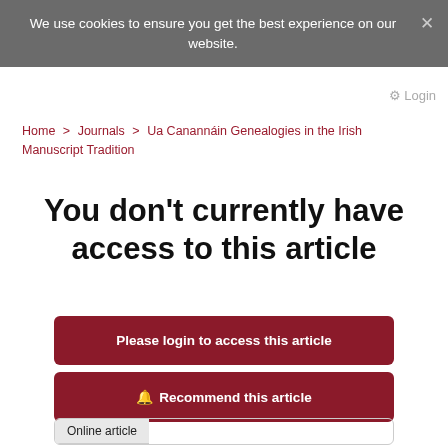We use cookies to ensure you get the best experience on our website.
Login
Home > Journals > Ua Canannáin Genealogies in the Irish Manuscript Tradition
You don't currently have access to this article
Please login to access this article
Recommend this article
Online article